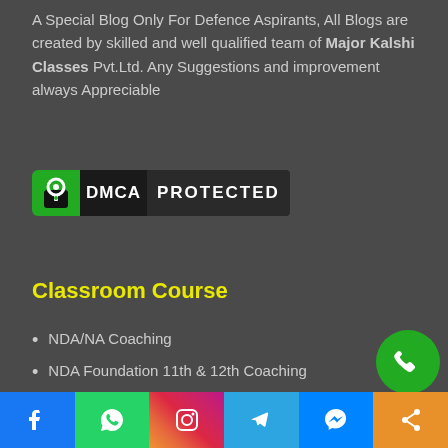A Special Blog Only For Defence Aspirants, All Blogs are created by skilled and well qualified team of Major Kalshi Classes Pvt.Ltd. Any Suggestions and improvement always Appreciable
[Figure (logo): DMCA Protected badge with green lock icon, black DMCA label, and dark PROTECTED text]
Classroom Course
NDA/NA Coaching
NDA Foundation 11th & 12th Coaching
CDS Coaching
CAPF Coaching
AFCAT Coaching
ACC Coaching
[Figure (infographic): Social media share bar at bottom with Facebook, WhatsApp, Instagram, Telegram, Messenger, Share icons]